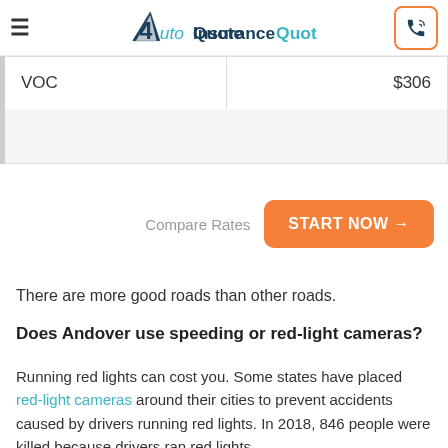AutoInsuranceQuote
|  |  |
| --- | --- |
| VOC | $306 |
|  |  |
Compare Rates  START NOW →
There are more good roads than other roads.
Does Andover use speeding or red-light cameras?
Running red lights can cost you. Some states have placed red-light cameras around their cities to prevent accidents caused by drivers running red lights. In 2018, 846 people were killed because drivers ran red lights.